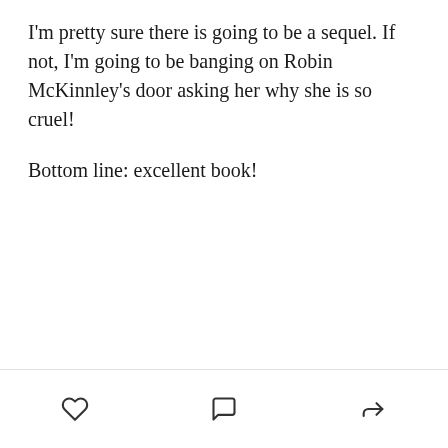I'm pretty sure there is going to be a sequel. If not, I'm going to be banging on Robin McKinnley's door asking her why she is so cruel!

Bottom line: excellent book!
[heart icon] [comment icon] [share icon]